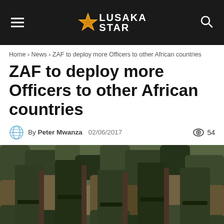Lusaka Star
Home › News › ZAF to deploy more Officers to other African countries
ZAF to deploy more Officers to other African countries
By Peter Mwanza  02/06/2017  54 views
[Figure (photo): Soldiers in camouflage military uniforms standing in formation, viewed from chest to waist level]